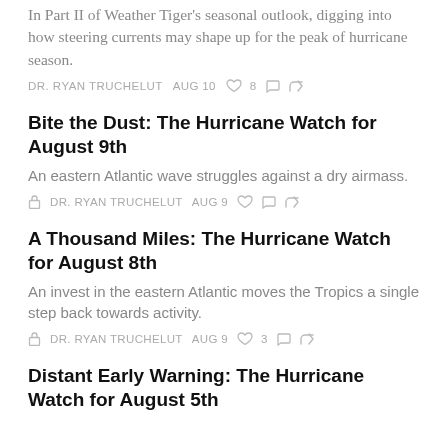In Part II of Weather Tiger's seasonal outlook, digging into how steering currents may shape up for the peak of hurricane season.
DR. RYAN TRUCHELUT   AUG 10   ♡ 8   ○   ↪
Bite the Dust: The Hurricane Watch for August 9th
An eastern Atlantic wave struggles against a dry airmass.
🔒  DR. RYAN TRUCHELUT   AUG 9   ♡   ○   ↪
A Thousand Miles: The Hurricane Watch for August 8th
An invest in the eastern Atlantic moves the Tropics a single step back towards activity.
🔒  DR. RYAN TRUCHELUT   AUG 9   ♡ 3   ○   ↪
Distant Early Warning: The Hurricane Watch for August 5th